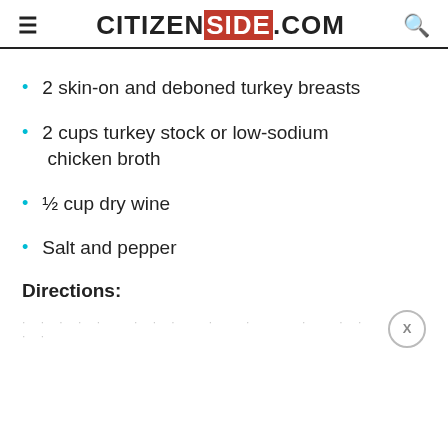CITIZENSIDE.COM
2 skin-on and deboned turkey breasts
2 cups turkey stock or low-sodium chicken broth
½ cup dry wine
Salt and pepper
Directions:
[blurred/obscured text line]